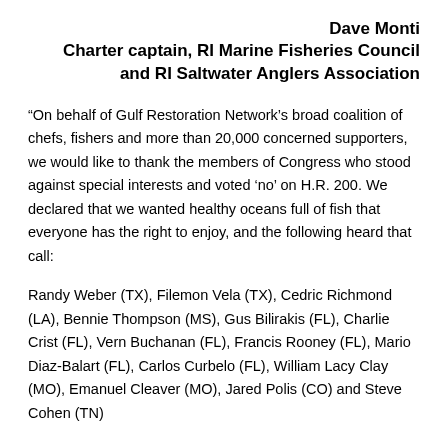Dave Monti
Charter captain, RI Marine Fisheries Council and RI Saltwater Anglers Association
“On behalf of Gulf Restoration Network’s broad coalition of chefs, fishers and more than 20,000 concerned supporters, we would like to thank the members of Congress who stood against special interests and voted ‘no’ on H.R. 200. We declared that we wanted healthy oceans full of fish that everyone has the right to enjoy, and the following heard that call:
Randy Weber (TX), Filemon Vela (TX), Cedric Richmond (LA), Bennie Thompson (MS), Gus Bilirakis (FL), Charlie Crist (FL), Vern Buchanan (FL), Francis Rooney (FL), Mario Diaz-Balart (FL), Carlos Curbelo (FL), William Lacy Clay (MO), Emanuel Cleaver (MO), Jared Polis (CO) and Steve Cohen (TN)